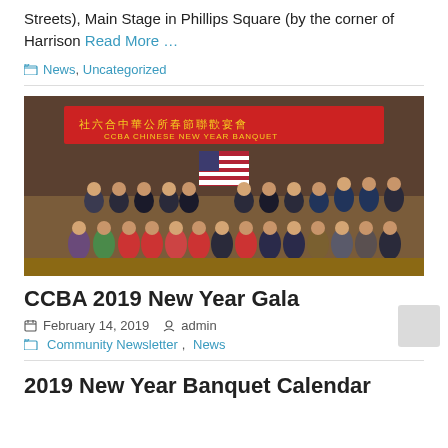Streets), Main Stage in Phillips Square (by the corner of Harrison Read More …
News, Uncategorized
[Figure (photo): Group photo at CCBA Chinese New Year Banquet event, large group of people posing on a stage with a red banner reading CCBA Chinese New Year Banquet, American flag in background.]
CCBA 2019 New Year Gala
February 14, 2019   admin
Community Newsletter, News
2019 New Year Banquet Calendar